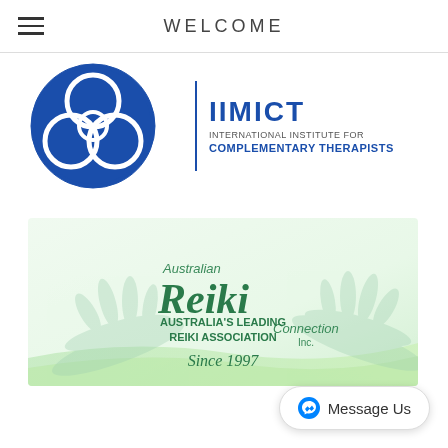WELCOME
[Figure (logo): IICT - International Institute for Complementary Therapists logo with blue circular emblem on the left and text on the right]
[Figure (logo): Australian Reiki Connection Inc. banner - Australia's Leading Reiki Association Since 1997, green and white with hands graphic]
Message Us